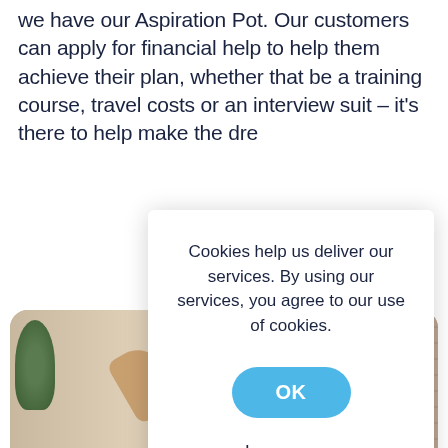we have our Aspiration Pot. Our customers can apply for financial help to help them achieve their plan, whether that be a training course, travel costs or an interview suit – it's there to help make the dre...
Find
Rea
Cookies help us deliver our services. By using our services, you agree to our use of cookies.
OK
Learn more
[Figure (photo): A smiling woman with curly hair celebrating with raised fists, seated in a bright room with bookshelves and a brick wall visible in the background.]